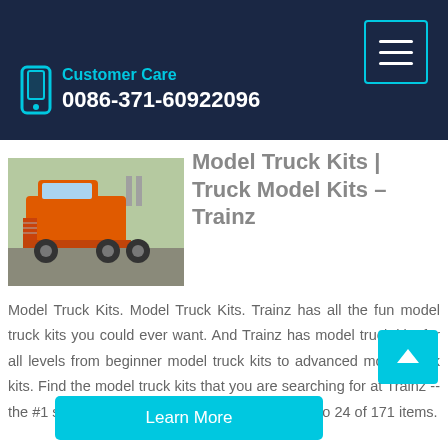Customer Care
0086-371-60922096
Model Truck Kits | Truck Model Kits – Trainz
[Figure (photo): Orange semi-truck / tractor unit photographed outdoors]
Model Truck Kits. Model Truck Kits. Trainz has all the fun model truck kits you could ever want. And Trainz has model truck kits for all levels from beginner model truck kits to advanced model truck kits. Find the model truck kits that you are searching for at Trainz -- the #1 source for all model hobby needs. Item 1 to 24 of 171 items.